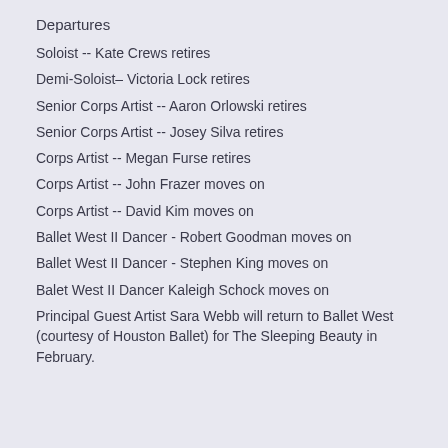Departures
Soloist -- Kate Crews retires
Demi-Soloist– Victoria Lock retires
Senior Corps Artist -- Aaron Orlowski retires
Senior Corps Artist -- Josey Silva retires
Corps Artist -- Megan Furse retires
Corps Artist -- John Frazer moves on
Corps Artist -- David Kim moves on
Ballet West II Dancer - Robert Goodman moves on
Ballet West II Dancer - Stephen King moves on
Balet West II Dancer Kaleigh Schock moves on
Principal Guest Artist Sara Webb will return to Ballet West (courtesy of Houston Ballet) for The Sleeping Beauty in February.